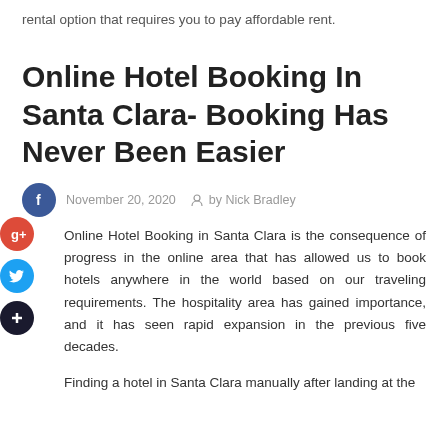rental option that requires you to pay affordable rent.
Online Hotel Booking In Santa Clara- Booking Has Never Been Easier
November 20, 2020   by Nick Bradley
Online Hotel Booking in Santa Clara is the consequence of progress in the online area that has allowed us to book hotels anywhere in the world based on our traveling requirements. The hospitality area has gained importance, and it has seen rapid expansion in the previous five decades.
Finding a hotel in Santa Clara manually after landing at the